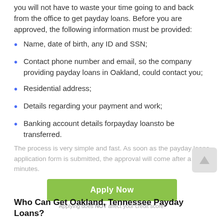you will not have to waste your time going to and back from the office to get payday loans. Before you are approved, the following information must be provided:
Name, date of birth, any ID and SSN;
Contact phone number and email, so the company providing payday loans in Oakland, could contact you;
Residential address;
Details regarding your payment and work;
Banking account details forpayday loansto be transferred.
The process is very simple and fast. As soon as the payday loans application form is submitted, the approval will come after a few minutes.
Applying does NOT affect your credit score!
Who Can Get Oakland, Tennessee Payday Loans?